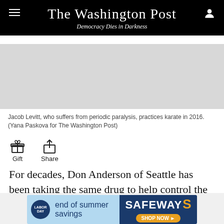The Washington Post — Democracy Dies in Darkness
[Figure (photo): Photo of Jacob Levitt practicing karate (grey/empty placeholder visible)]
Jacob Levitt, who suffers from periodic paralysis, practices karate in 2016. (Yana Paskova for The Washington Post)
Gift   Share
For decades, Don Anderson of Seattle has been taking the same drug to help control the temporary bouts of immobility and muscle weakness caused by a rare and
[Figure (advertisement): Safeway Labor Day end of summer savings advertisement]